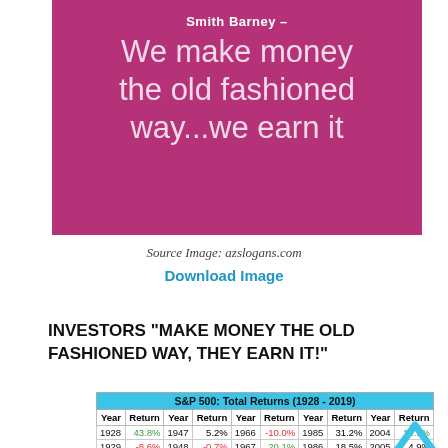[Figure (illustration): Smith Barney branded magenta/pink promotional banner with white text reading 'Smith Barney – We make money the old fashioned way...we earn it']
Source Image: azslogans.com
Download Image
INVESTORS “MAKE MONEY THE OLD FASHIONED WAY, THEY EARN IT!”
| Year | Return | Year | Return | Year | Return | Year | Return | Year | Return |
| --- | --- | --- | --- | --- | --- | --- | --- | --- | --- |
| S&P 500:  Total Returns (1928 - 2019) |
| Year | Return | Year | Return | Year | Return | Year | Return | Year | Return |
| 1928 | 43.8% | 1947 | 5.2% | 1966 | -10.0% | 1985 | 31.2% | 2004 | 10.9% |
| 1929 | -8.6% | 1948 | -0.7% | 1967 | 20.1% | 1986 | 18.5% | 2005 | 4.9% |